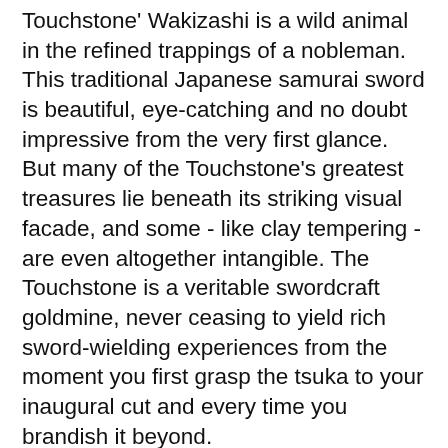Touchstone' Wakizashi is a wild animal in the refined trappings of a nobleman. This traditional Japanese samurai sword is beautiful, eye-catching and no doubt impressive from the very first glance. But many of the Touchstone's greatest treasures lie beneath its striking visual facade, and some - like clay tempering - are even altogether intangible. The Touchstone is a veritable swordcraft goldmine, never ceasing to yield rich sword-wielding experiences from the moment you first grasp the tsuka to your inaugural cut and every time you brandish it beyond.
Made of blood, sweat, tears, and premium T10 steel
Shikoto developed the Touchstone with the serious swordsman in mind. Master smiths painstakingly hand forge every aspect of this legendary blade...